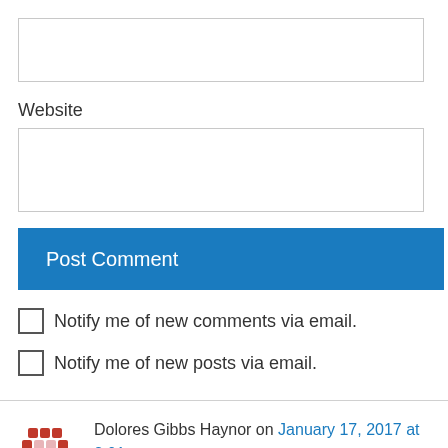[Figure (other): Empty text input box (email or name field)]
Website
[Figure (other): Empty text input box (website field)]
Post Comment
Notify me of new comments via email.
Notify me of new posts via email.
Dolores Gibbs Haynor on January 17, 2017 at 2:01 pm
While I may groan when you release a